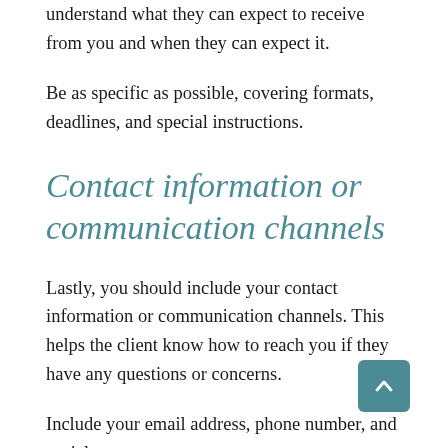understand what they can expect to receive from you and when they can expect it.
Be as specific as possible, covering formats, deadlines, and special instructions.
Contact information or communication channels
Lastly, you should include your contact information or communication channels. This helps the client know how to reach you if they have any questions or concerns.
Include your email address, phone number, and social